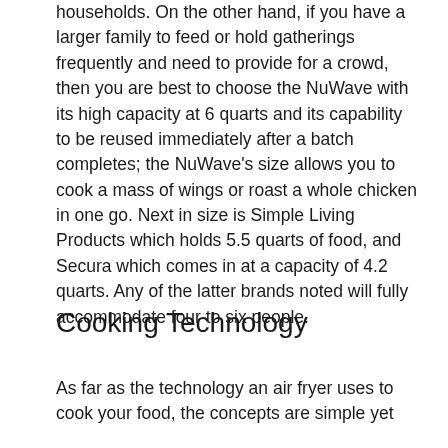households. On the other hand, if you have a larger family to feed or hold gatherings frequently and need to provide for a crowd, then you are best to choose the NuWave with its high capacity at 6 quarts and its capability to be reused immediately after a batch completes; the NuWave's size allows you to cook a mass of wings or roast a whole chicken in one go. Next in size is Simple Living Products which holds 5.5 quarts of food, and Secura which comes in at a capacity of 4.2 quarts. Any of the latter brands noted will fully accommodate four to six people.
Cooking Technology
As far as the technology an air fryer uses to cook your food, the concepts are simple yet